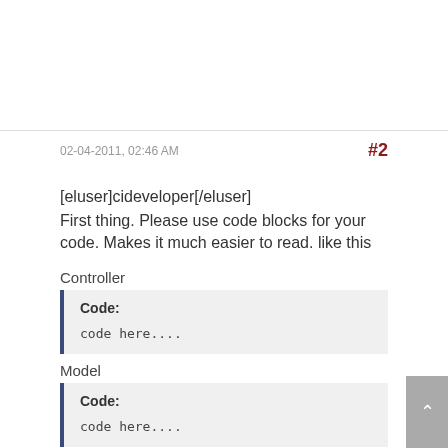02-04-2011, 02:46 AM   #2
[eluser]cideveloper[/eluser]
First thing. Please use code blocks for your code. Makes it much easier to read. like this
Controller
Code:
code here....
Model
Code:
code here....
View
Code: